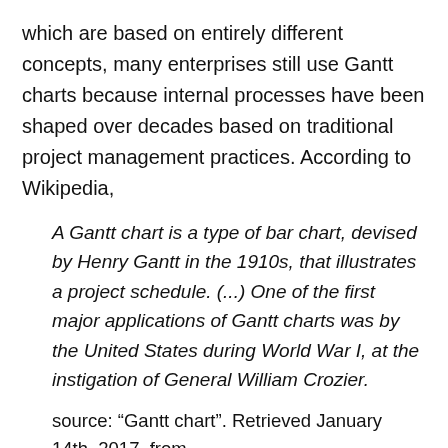which are based on entirely different concepts, many enterprises still use Gantt charts because internal processes have been shaped over decades based on traditional project management practices. According to Wikipedia,
A Gantt chart is a type of bar chart, devised by Henry Gantt in the 1910s, that illustrates a project schedule. (...) One of the first major applications of Gantt charts was by the United States during World War I, at the instigation of General William Crozier.
source: “Gantt chart”. Retrieved January 14th, 2017, from https://en.wikipedia.org/wiki/Gantt_chart
Gantt charts can be very effective and are a powerful tool when it comes to planning activities like the ones for